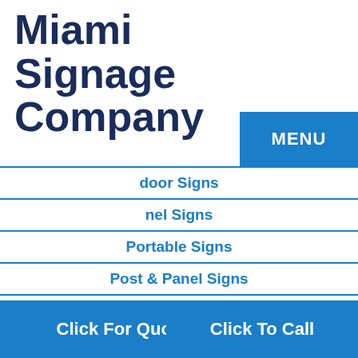Miami Signage Company
[Figure (screenshot): Blue MENU navigation button in top-right area]
door Signs (Outdoor Signs - partially visible)
nel Signs (Panel Signs - partially visible)
Portable Signs
Post & Panel Signs
Printed Backdrops
Product Displays
Promotional Signs
table Bann (Retractable Banners - partially visible)
Click For Quote
Click To Call